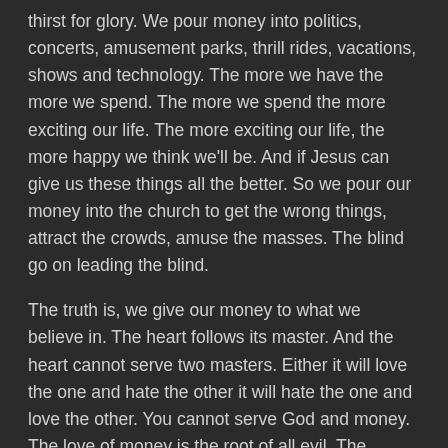thirst for glory.  We pour money into politics, concerts, amusement parks, thrill rides, vacations, shows and technology.  The more we have the more we spend.  The more we spend the more exciting our life.  The more exciting our life, the more happy we think we'll be.  And if Jesus can give us these things all the better.  So we pour our money into the church to get the wrong things, attract the crowds, amuse the masses.   The blind go on leading the blind.
The truth is, we give our money to what we believe in.  The heart follows its master.  And the heart cannot serve two masters.  Either it will love the one and hate the other it will hate the one and love the other.  You cannot serve God and money.  The love of money is the root of all evil.  The pursuit of glory is the root cause of all despair.  If this is not true, then why is there so much despair even every presidential